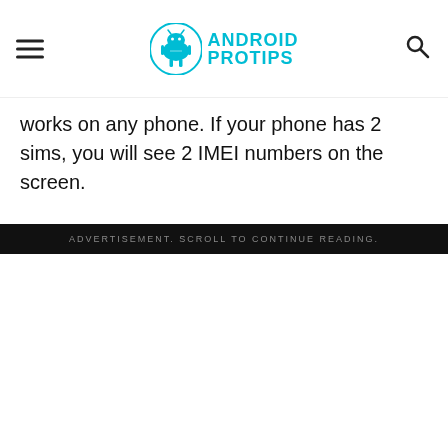Android Pro Tips
works on any phone. If your phone has 2 sims, you will see 2 IMEI numbers on the screen.
ADVERTISEMENT. SCROLL TO CONTINUE READING.